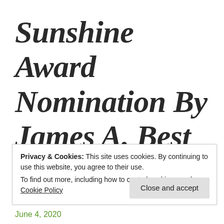Sunshine Award Nomination By James A. Best
Privacy & Cookies: This site uses cookies. By continuing to use this website, you agree to their use.
To find out more, including how to control cookies, see here: Cookie Policy
Close and accept
June 4, 2020